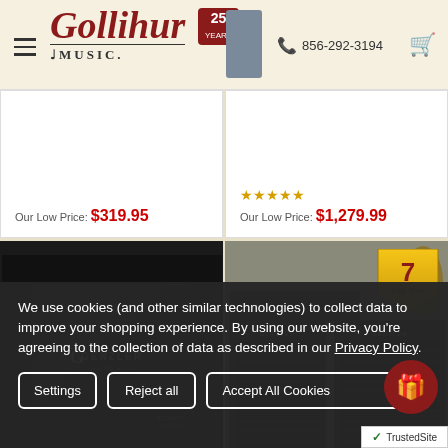Gollihur Music — 856-292-3194
Our Low Price: $319.95
Our Low Price: $1,279.99
[Figure (photo): Black Genzler Acoustic Array amplifier cover/bag]
[Figure (photo): Genzler bass amplifier stack with two speaker cabinets and head unit, 7 Day Trial badge]
We use cookies (and other similar technologies) to collect data to improve your shopping experience. By using our website, you're agreeing to the collection of data as described in our Privacy Policy.
Settings
Reject all
Accept All Cookies
TrustedSite